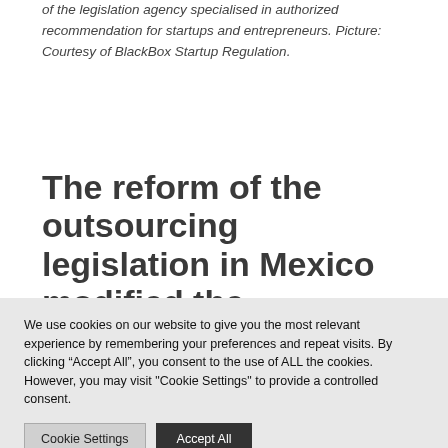of the legislation agency specialised in authorized recommendation for startups and entrepreneurs. Picture: Courtesy of BlackBox Startup Regulation.
The reform of the outsourcing legislation in Mexico modified the foundations of the sport
We use cookies on our website to give you the most relevant experience by remembering your preferences and repeat visits. By clicking “Accept All”, you consent to the use of ALL the cookies. However, you may visit "Cookie Settings" to provide a controlled consent.